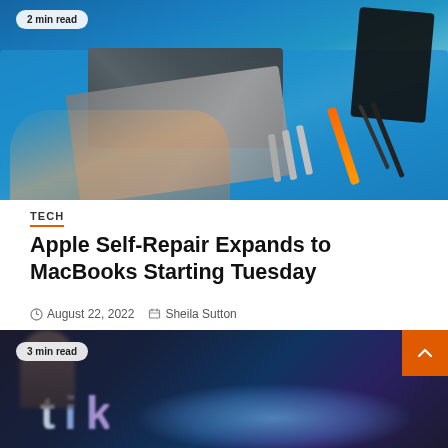[Figure (photo): Overhead view of a person repairing a laptop on a blue mat with tools including tweezers, screwdrivers, and screws. A badge reads '2 min read'.]
TECH
Apple Self-Repair Expands to MacBooks Starting Tuesday
August 22, 2022   Sheila Sutton
[Figure (photo): Blurred image of a person in front of a neon sign, partially visible. A badge reads '3 min read'. Orange back-to-top button visible in corner.]